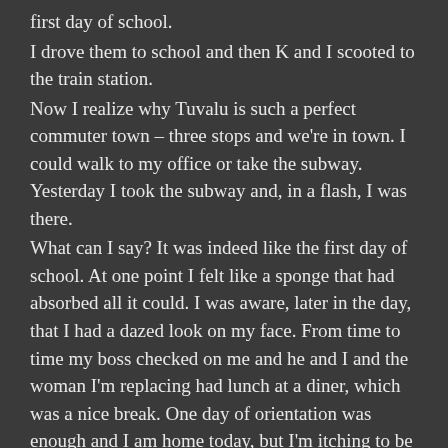first day of school.
I drove them to school and then K and I scooted to the train station.
Now I realize why Tuvalu is such a perfect commuter town – three stops and we're in town. I could walk to my office or take the subway. Yesterday I took the subway and, in a flash, I was there.
What can I say? It was indeed like the first day of school. At one point I felt like a sponge that had absorbed all it could. I was aware, later in the day, that I had a dazed look on my face. From time to time my boss checked on me and he and I and the woman I'm replacing had lunch at a diner, which was a nice break. One day of orientation was enough and I am home today, but I'm itching to be at that desk alone. I need to learn Outlook, which will take me about an hour, there is a lot I'd like to re-arrange and I want to better understand the big picture at this company.
The end was cut deliberately, consistent theme...